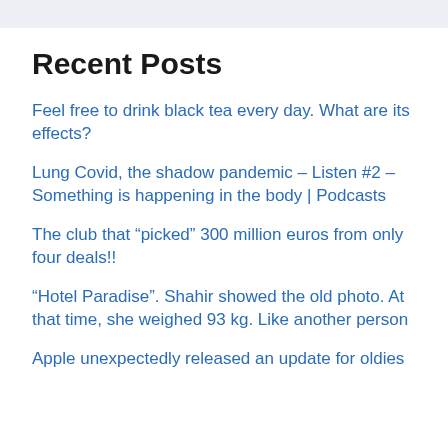Recent Posts
Feel free to drink black tea every day. What are its effects?
Lung Covid, the shadow pandemic – Listen #2 – Something is happening in the body | Podcasts
The club that “picked” 300 million euros from only four deals!!
“Hotel Paradise”. Shahir showed the old photo. At that time, she weighed 93 kg. Like another person
Apple unexpectedly released an update for oldies